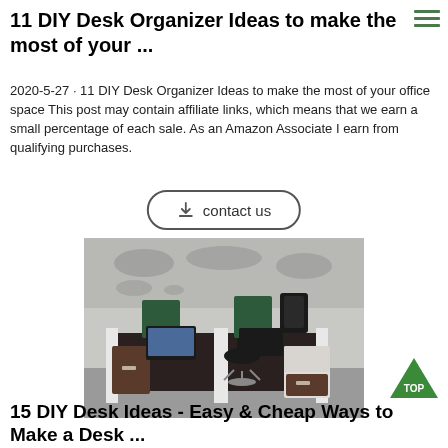11 DIY Desk Organizer Ideas to make the most of your ...
2020-5-27 · 11 DIY Desk Organizer Ideas to make the most of your office space This post may contain affiliate links, which means that we earn a small percentage of each sale. As an Amazon Associate I earn from qualifying purchases.
[Figure (other): Contact us button with download icon]
[Figure (photo): Modern office desk setup with two workstations, dark wood surface, green privacy panels, black chairs, and storage drawers, with a world map wall decoration in the background]
[Figure (other): Green triangle TOP button]
15 DIY Desk Ideas - Easy & Cheap Ways to Make a Desk ...